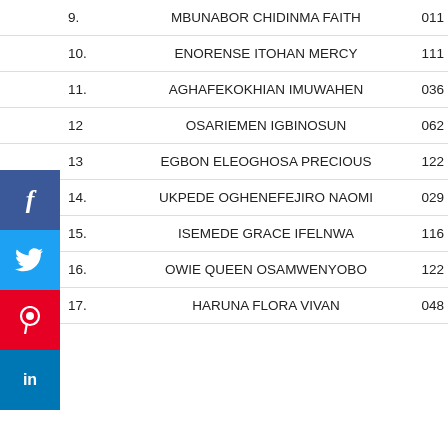| No. | Name | ID |
| --- | --- | --- |
| 9. | MBUNABOR CHIDINMA FAITH | 011 |
| 10. | ENORENSE ITOHAN MERCY | 111 |
| 11. | AGHAFEKOKHIAN IMUWAHEN | 036 |
| 12 | OSARIEMEN IGBINOSUN | 062 |
| 13 | EGBON ELEOGHOSA PRECIOUS | 122 |
| 14. | UKPEDE OGHENEFEJIRO NAOMI | 029 |
| 15. | ISEMEDE GRACE IFELNWA | 116 |
| 16. | OWIE QUEEN OSAMWENYOBO | 122 |
| 17. | HARUNA FLORA VIVAN | 048 |